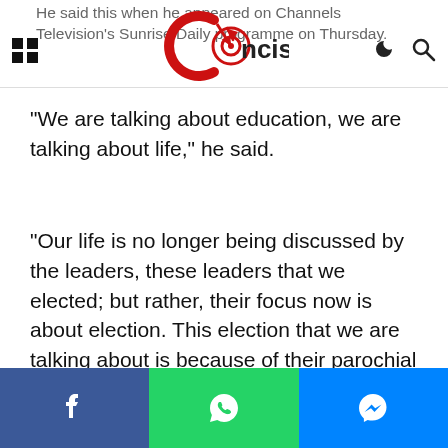Concise [logo header with navigation icons]
He said this when he appeared on Channels Television's Sunrise Daily programme on Thursday.
“We are talking about education, we are talking about life,” he said.
“Our life is no longer being discussed by the leaders, these leaders that we elected; but rather, their focus now is about election. This election that we are talking about is because of their parochial and selfish interest.
Share buttons: Facebook, WhatsApp, Messenger